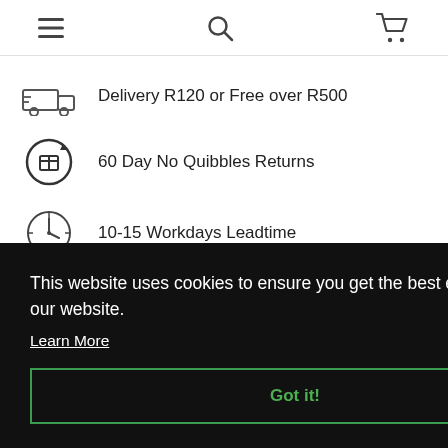Navigation bar with menu, search, and cart icons
Delivery  R120 or Free over R500
60 Day No Quibbles Returns
10-15 Workdays Leadtime
This website uses cookies to ensure you get the best experience on our website.
Learn More
Got it!